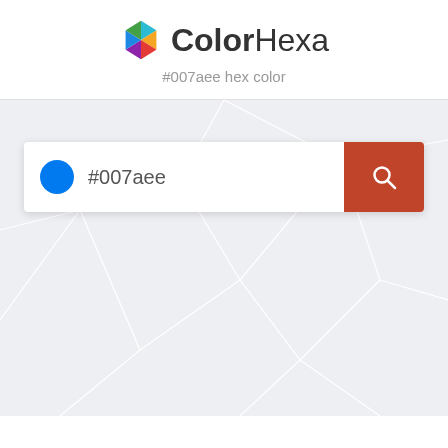[Figure (logo): ColorHexa logo — multicolored hexagon icon followed by text 'ColorHexa' with 'Color' in bold and 'Hexa' in regular weight]
#007aee hex color
[Figure (screenshot): Search bar with blue circle color swatch, text input showing '#007aee', and orange-red search button with magnifying glass icon, on a light gray polygonal background]